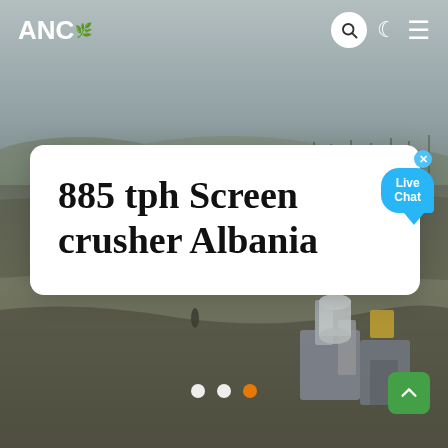[Figure (photo): Aerial drone photo of a mining/quarry site with heavy equipment, conveyor belts, crushers and processing equipment. Background shows hazy sky and bare trees. Site is in Albania.]
ANC
885 tph Screen crusher Albania
[Figure (infographic): Live Chat button bubble in cyan/blue color in upper right corner of white card, with an X close button]